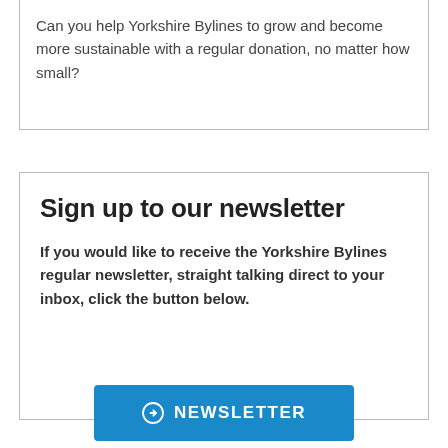Can you help Yorkshire Bylines to grow and become more sustainable with a regular donation, no matter how small?
Sign up to our newsletter
If you would like to receive the Yorkshire Bylines regular newsletter, straight talking direct to your inbox, click the button below.
NEWSLETTER